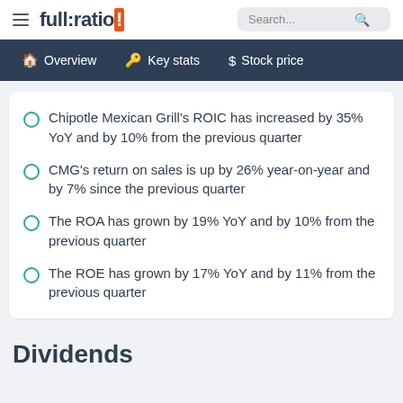full:ratio | Search...
Overview | Key stats | Stock price
Chipotle Mexican Grill's ROIC has increased by 35% YoY and by 10% from the previous quarter
CMG's return on sales is up by 26% year-on-year and by 7% since the previous quarter
The ROA has grown by 19% YoY and by 10% from the previous quarter
The ROE has grown by 17% YoY and by 11% from the previous quarter
Dividends